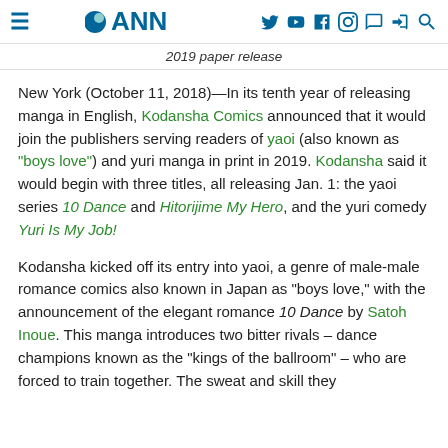≡ ANN [social icons]
2019 paper release
New York (October 11, 2018)—In its tenth year of releasing manga in English, Kodansha Comics announced that it would join the publishers serving readers of yaoi (also known as "boys love") and yuri manga in print in 2019. Kodansha said it would begin with three titles, all releasing Jan. 1: the yaoi series 10 Dance and Hitorijime My Hero, and the yuri comedy Yuri Is My Job!
Kodansha kicked off its entry into yaoi, a genre of male-male romance comics also known in Japan as "boys love," with the announcement of the elegant romance 10 Dance by Satoh Inoue. This manga introduces two bitter rivals – dance champions known as the "kings of the ballroom" – who are forced to train together. The sweat and skill they